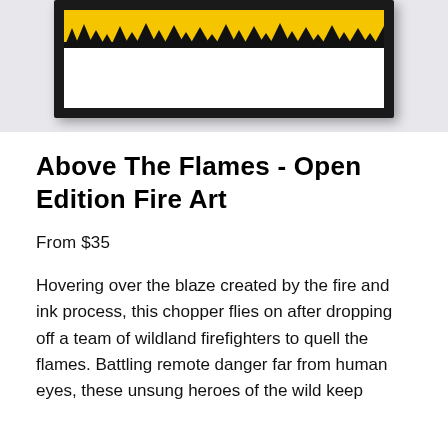[Figure (photo): Framed art print showing a yellow/golden sky with black tree silhouettes at the bottom, displayed in a black frame on a light gray background. Only the top portion of the frame and artwork is visible.]
Above The Flames - Open Edition Fire Art
From $35
Hovering over the blaze created by the fire and ink process, this chopper flies on after dropping off a team of wildland firefighters to quell the flames. Battling remote danger far from human eyes, these unsung heroes of the wild keep